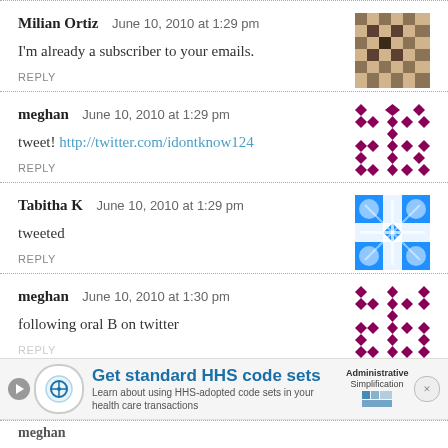Milian Ortiz — June 10, 2010 at 1:29 pm
I'm already a subscriber to your emails.
REPLY
meghan — June 10, 2010 at 1:29 pm
tweet! http://twitter.com/idontknow124
REPLY
Tabitha K — June 10, 2010 at 1:29 pm
tweeted
REPLY
meghan — June 10, 2010 at 1:30 pm
following oral B on twitter
REPLY
Get standard HHS code sets — Learn about using HHS-adopted code sets in your health care transactions